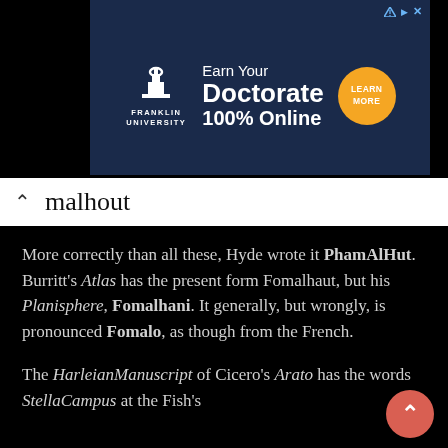[Figure (other): Franklin University advertisement banner: 'Earn Your Doctorate 100% Online' with Learn More button]
malhout
More correctly than all these, Hyde wrote it PhamAlHut. Burritt's Atlas has the present form Fomalhaut, but his Planisphere, Fomalhani. It generally, but wrongly, is pronounced Fomalo, as though from the French.
The HarleianManuscript of Cicero's Arato has the words StellaCampus at the Fish's